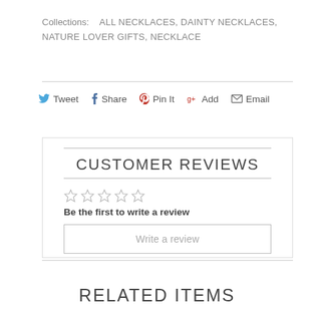Collections: ALL NECKLACES, DAINTY NECKLACES, NATURE LOVER GIFTS, NECKLACE
[Figure (infographic): Social sharing buttons: Tweet (Twitter blue bird icon), Share (Facebook f icon), Pin It (Pinterest red icon), Add (Google+ red icon), Email (envelope icon)]
CUSTOMER REVIEWS
Be the first to write a review
Write a review
RELATED ITEMS